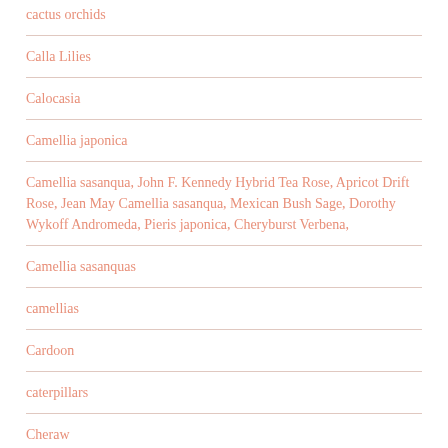cactus orchids
Calla Lilies
Calocasia
Camellia japonica
Camellia sasanqua, John F. Kennedy Hybrid Tea Rose, Apricot Drift Rose, Jean May Camellia sasanqua, Mexican Bush Sage, Dorothy Wykoff Andromeda, Pieris japonica, Cheryburst Verbena,
Camellia sasanquas
camellias
Cardoon
caterpillars
Cheraw